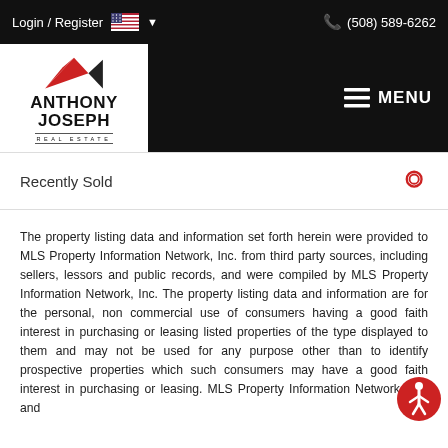Login / Register  (508) 589-6262
[Figure (logo): Anthony Joseph Real Estate logo with red and black house/triangle graphic above bold text ANTHONY JOSEPH with REAL ESTATE beneath in spaced letters]
Recently Sold
The property listing data and information set forth herein were provided to MLS Property Information Network, Inc. from third party sources, including sellers, lessors and public records, and were compiled by MLS Property Information Network, Inc. The property listing data and information are for the personal, non commercial use of consumers having a good faith interest in purchasing or leasing listed properties of the type displayed to them and may not be used for any purpose other than to identify prospective properties which such consumers may have a good faith interest in purchasing or leasing. MLS Property Information Network, Inc. and